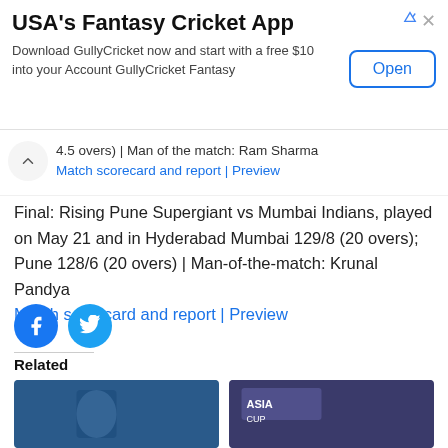[Figure (screenshot): Advertisement banner for USA's Fantasy Cricket App (GullyCricket) with an Open button]
4.5 overs); Man of the match: Ram Sharma
Match scorecard and report | Preview
Final: Rising Pune Supergiant vs Mumbai Indians, played on May 21 and in Hyderabad Mumbai 129/8 (20 overs); Pune 128/6 (20 overs) | Man-of-the-match: Krunal Pandya
Match scorecard and report | Preview
[Figure (screenshot): Social share buttons: Facebook and Twitter circular icons]
Related
[Figure (photo): Two related article thumbnail images at the bottom of the page]